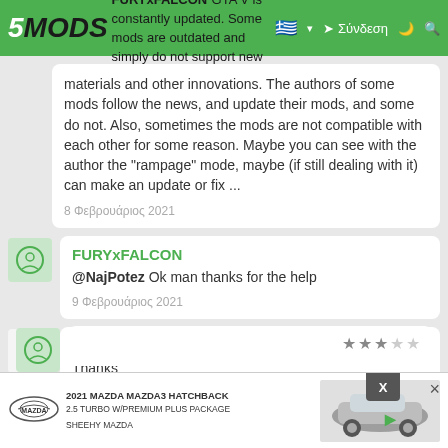5MODS | FURYxFALCON GTA V is constantly updated. Some mods are outdated and simply do not support new materials and other innovations. Σύνδεση
materials and other innovations. The authors of some mods follow the news, and update their mods, and some do not. Also, sometimes the mods are not compatible with each other for some reason. Maybe you can see with the author the "rampage" mode, maybe (if still dealing with it) can make an update or fix ...
8 Φεβρουάριος 2021
FURYxFALCON
@NajPotez Ok man thanks for the help
9 Φεβρουάριος 2021
MrGTAmodsgerman
Thanks
12 Φεβρουάριος 2021
[Figure (screenshot): Advertisement banner: 2021 Mazda Mazda3 Hatchback 2.5 Turbo w/Premium Plus Package - Sheehy Mazda]
2021 MAZDA MAZDA3 HATCHBACK 2.5 TURBO W/PREMIUM PLUS PACKAGE SHEEHY MAZDA